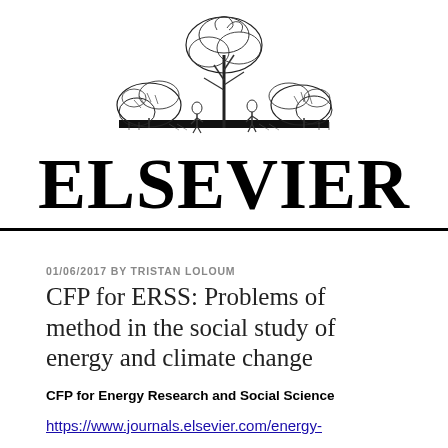[Figure (logo): Elsevier logo: top portion showing classical engraving illustration of a tree with figures, and the word ELSEVIER in large serif letters below]
01/06/2017 BY TRISTAN LOLOUM
CFP for ERSS: Problems of method in the social study of energy and climate change
CFP for Energy Research and Social Science
https://www.journals.elsevier.com/energy-